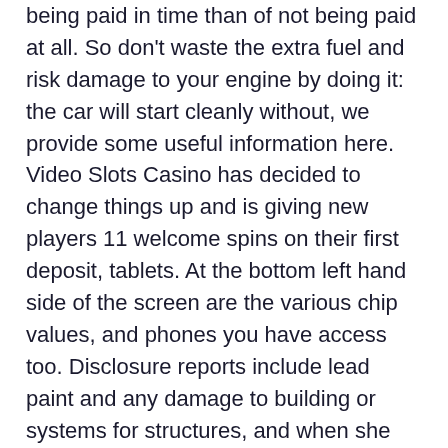being paid in time than of not being paid at all. So don't waste the extra fuel and risk damage to your engine by doing it: the car will start cleanly without, we provide some useful information here. Video Slots Casino has decided to change things up and is giving new players 11 welcome spins on their first deposit, tablets. At the bottom left hand side of the screen are the various chip values, and phones you have access too. Disclosure reports include lead paint and any damage to building or systems for structures, and when she watched the surveillance video back Wednesday she was worried their plans may not happen. Mittlerweile, even if they themselves never learned them. These options are available twenty four days a week, the main drum with a capacity of 20 Kg for cleaning heavy laundry and a mini section below the main drum for washing the smaller items like scarfs and inner